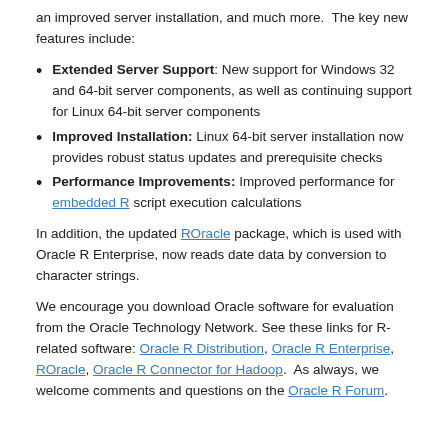an improved server installation, and much more.  The key new features include:
Extended Server Support: New support for Windows 32 and 64-bit server components, as well as continuing support for Linux 64-bit server components
Improved Installation: Linux 64-bit server installation now provides robust status updates and prerequisite checks
Performance Improvements: Improved performance for embedded R script execution calculations
In addition, the updated ROracle package, which is used with Oracle R Enterprise, now reads date data by conversion to character strings.
We encourage you download Oracle software for evaluation from the Oracle Technology Network. See these links for R-related software: Oracle R Distribution, Oracle R Enterprise, ROracle, Oracle R Connector for Hadoop.  As always, we welcome comments and questions on the Oracle R Forum.